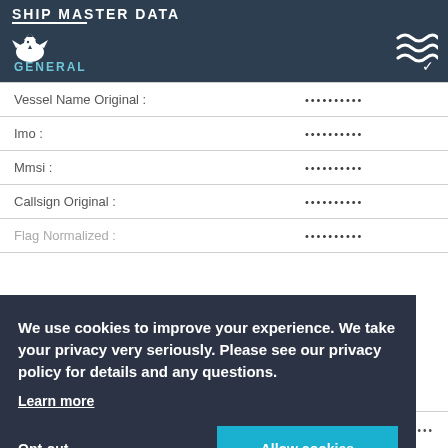SHIP MASTER DATA
GENERAL
| Field | Value |
| --- | --- |
| Vessel Name Original : | .......... |
| Imo : | .......... |
| Mmsi : | .......... |
| Callsign Original : | .......... |
| Flag Normalized : | .......... |
| Size Class : | .......... |
We use cookies to improve your experience. We take your privacy very seriously. Please see our privacy policy for details and any questions.
Learn more
Opt-out
Allow cookies